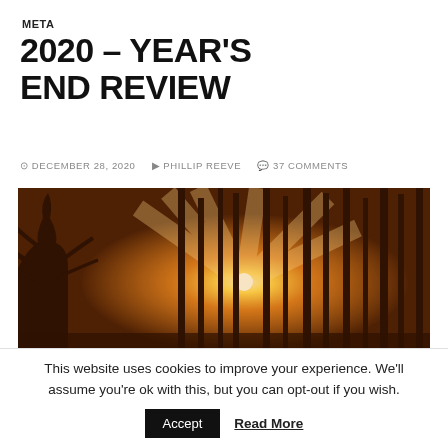META
2020 – YEAR'S END REVIEW
DECEMBER 28, 2020   PHILLIP REEVE   37 COMMENTS
[Figure (photo): Sunset through a winter forest with bare trees silhouetted against warm golden light]
This website uses cookies to improve your experience. We'll assume you're ok with this, but you can opt-out if you wish.
Accept   Read More